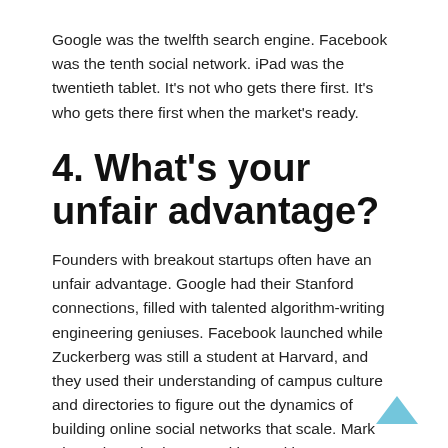Google was the twelfth search engine. Facebook was the tenth social network. iPad was the twentieth tablet. It's not who gets there first. It's who gets there first when the market's ready.
4. What's your unfair advantage?
Founders with breakout startups often have an unfair advantage. Google had their Stanford connections, filled with talented algorithm-writing engineering geniuses. Facebook launched while Zuckerberg was still a student at Harvard, and they used their understanding of campus culture and directories to figure out the dynamics of building online social networks that scale. Mark Pincus launched Zynga with a multi-year cross-promotion deal with Facebook, which allowed Zynga to tag along with Facebook as it grew at an astounding